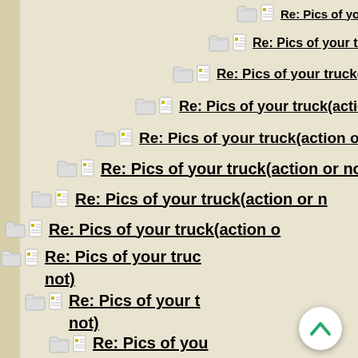Re: Pics of your truck(action or not)
Re: Pics of your truck(action or not)
Re: Pics of your truck(action or not)
Re: Pics of your truck(action or not)
Re: Pics of your truck(action or not)
Re: Pics of your truck(action or not)
Re: Pics of your truck(action or not)
Re: Pics of your truck(action or not)
Re: Pics of your truck(action or not)
Re: Pics of your truck(action or not)
Re: Pics of your truck(action or not)
Re: Pics of your truck(action or not)
Re: Pics of your truck(action or not)
Re: Pics of your truck(action or not)